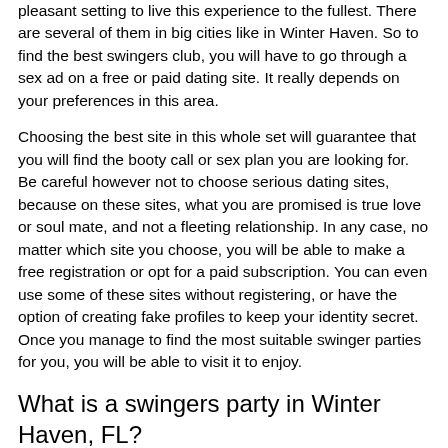All these places are perfectly equipped and will offer you a pleasant setting to live this experience to the fullest. There are several of them in big cities like in Winter Haven. So to find the best swingers club, you will have to go through a sex ad on a free or paid dating site. It really depends on your preferences in this area.
Choosing the best site in this whole set will guarantee that you will find the booty call or sex plan you are looking for. Be careful however not to choose serious dating sites, because on these sites, what you are promised is true love or soul mate, and not a fleeting relationship. In any case, no matter which site you choose, you will be able to make a free registration or opt for a paid subscription. You can even use some of these sites without registering, or have the option of creating fake profiles to keep your identity secret. Once you manage to find the most suitable swinger parties for you, you will be able to visit it to enjoy.
What is a swingers party in Winter Haven, FL?
A swinger party is an establishment specially designed to welcome couples and singles who wish to enjoy the sex life. It